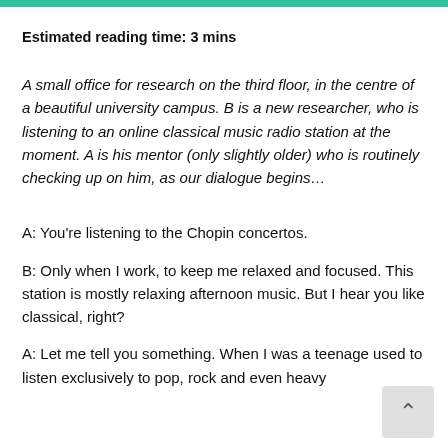Estimated reading time: 3 mins
A small office for research on the third floor, in the centre of a beautiful university campus. B is a new researcher, who is listening to an online classical music radio station at the moment. A is his mentor (only slightly older) who is routinely checking up on him, as our dialogue begins…
A: You're listening to the Chopin concertos.
B: Only when I work, to keep me relaxed and focused. This station is mostly relaxing afternoon music. But I hear you like classical, right?
A: Let me tell you something. When I was a teenage used to listen exclusively to pop, rock and even heavy